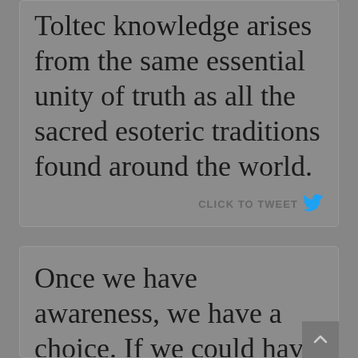Toltec knowledge arises from the same essential unity of truth as all the sacred esoteric traditions found around the world.
CLICK TO TWEET
Once we have awareness, we have a choice. If we could have that awareness all the time, we could